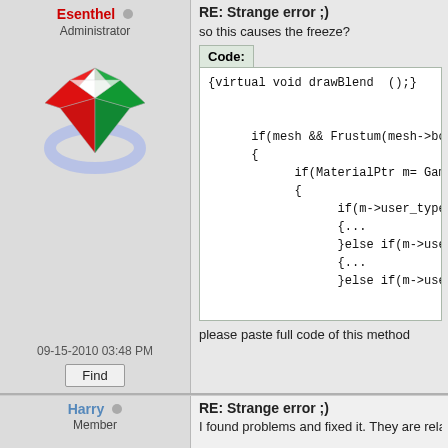Esenthel
Administrator
[Figure (logo): Diamond/gem shaped logo with red, white, and green colors and blue glow]
RE: Strange error ;)
so this causes the freeze?
Code:
{virtual void drawBlend  ();}

      if(mesh && Frustum(mesh->bo
      {
            if(MaterialPtr m= Game:
            {
                  if(m->user_type==MU
                  {...
                  }else if(m->user_ty
                  {...
                  }else if(m->user_ty
please paste full code of this method
09-15-2010 03:48 PM
Find
Harry
Member
[Figure (logo): FV letters in metallic 3D style]
RE: Strange error ;)
I found problems and fixed it. They are relate
1. In drawBlend() I changed this code:
Code:
if(MaterialPtr m= Game::World.M